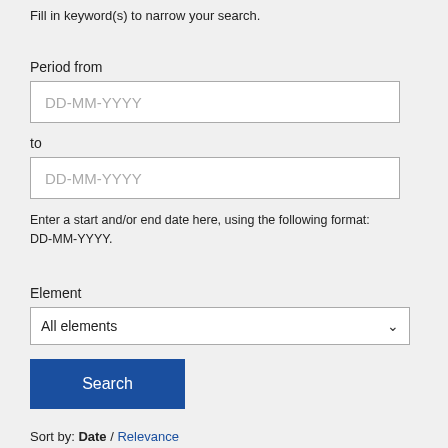Fill in keyword(s) to narrow your search.
Period from
DD-MM-YYYY
to
DD-MM-YYYY
Enter a start and/or end date here, using the following format: DD-MM-YYYY.
Element
All elements
Search
Sort by: Date / Relevance